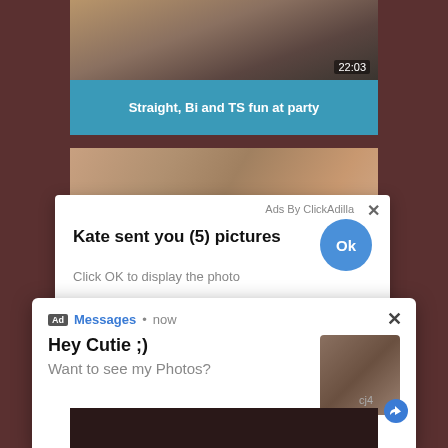[Figure (screenshot): Video thumbnail showing partial bodies, timestamp 22:03 in bottom right]
Straight, Bi and TS fun at party
[Figure (screenshot): Thumbnail strip of explicit images]
[Figure (screenshot): Popup ad: Ads By ClickAdilla, Kate sent you (5) pictures, Click OK to display the photo, with Ok button]
[Figure (screenshot): Notification ad: Ad Messages now, Hey Cutie ;) Want to see my Photos?]